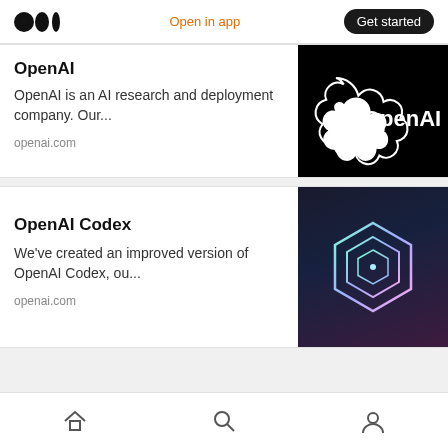Open in app | Get started
OpenAI
OpenAI is an AI research and deployment company. Our...
openai.com
[Figure (logo): OpenAI logo on black background with text OpenAI]
OpenAI Codex
We've created an improved version of OpenAI Codex, ou...
openai.com
[Figure (logo): OpenAI Codex hexagonal geometric logo on dark background]
Home | Search | Profile